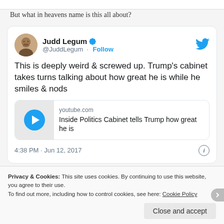But what in heavens name is this all about?
[Figure (screenshot): Embedded tweet from Judd Legum (@JuddLegum) with verified badge, Follow button, tweet text reading 'This is deeply weird & screwed up. Trump's cabinet takes turns talking about how great he is while he smiles & nods', a YouTube link card titled 'Inside Politics Cabinet tells Trump how great he is' from youtube.com, and timestamp '4:38 PM · Jun 12, 2017']
Privacy & Cookies: This site uses cookies. By continuing to use this website, you agree to their use.
To find out more, including how to control cookies, see here: Cookie Policy
Close and accept